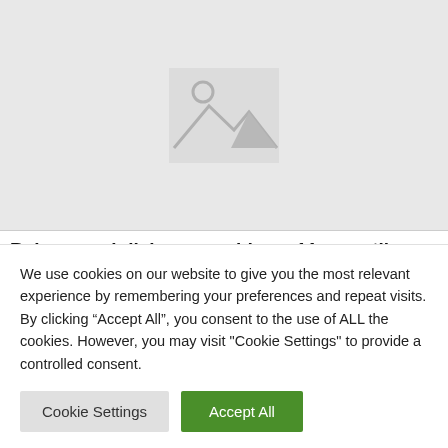[Figure (illustration): Placeholder image with a grey background showing a mountain and sun icon]
Beige couch living room ideas: 11 versatile, neutral
We use cookies on our website to give you the most relevant experience by remembering your preferences and repeat visits. By clicking “Accept All”, you consent to the use of ALL the cookies. However, you may visit "Cookie Settings" to provide a controlled consent.